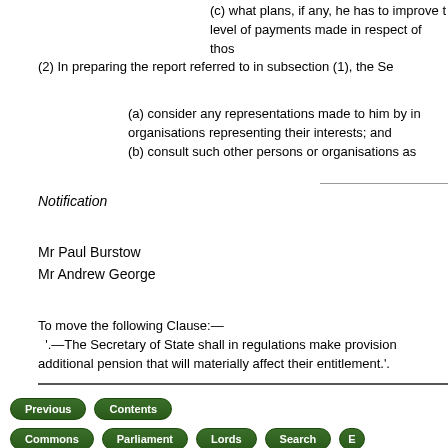(c) what plans, if any, he has to improve the level of payments made in respect of those
(2) In preparing the report referred to in subsection (1), the Se
(a) consider any representations made to him by in organisations representing their interests; and
(b) consult such other persons or organisations as
Notification
Mr Paul Burstow
Mr Andrew George
To move the following Clause:—
  '.—The Secretary of State shall in regulations make provision additional pension that will materially affect their entitlement.'.
Previous | Contents | Commons | Parliament | Lords | Search | E